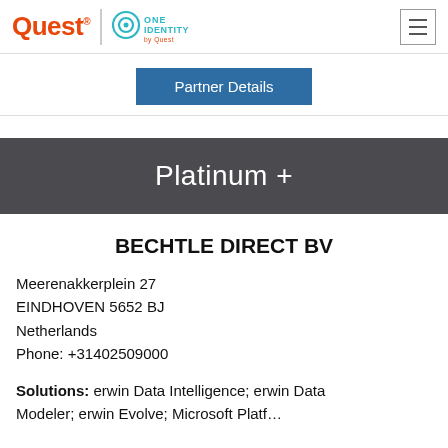Quest | ONE IDENTITY by Quest
Partner Details
Platinum +
BECHTLE DIRECT BV
Meerenakkerplein 27
EINDHOVEN 5652 BJ
Netherlands
Phone: +31402509000
Solutions: erwin Data Intelligence; erwin Data Modeler; erwin Evolve; Microsoft Platf…